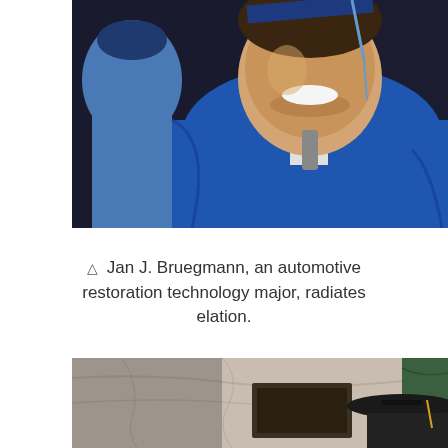[Figure (photo): A smiling young man wearing a blue graduation gown and blue graduation cap with tassel, photographed from the chest up. Another person in a blue graduation outfit is visible in the background to the left.]
△ Jan J. Bruegmann, an automotive restoration technology major, radiates elation.
[Figure (photo): A person wearing a black graduation cap and gown, bowing or looking down, in front of a marble wall with a plaque. Only the top of the person's head and cap are visible at the bottom right of the image.]